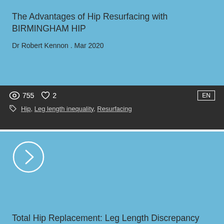The Advantages of Hip Resurfacing with BIRMINGHAM HIP
Dr Robert Kennon . Mar 2020
755  2  Hip, Leg length inequality, Resurfacing  EN
[Figure (illustration): Blue card with a right-pointing chevron circle icon on the left]
Total Hip Replacement: Leg Length Discrepancy and Instability